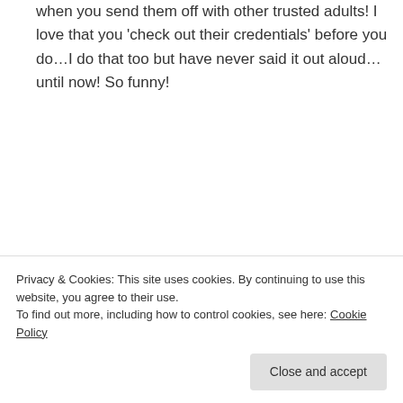when you send them off with other trusted adults! I love that you 'check out their credentials' before you do…I do that too but have never said it out aloud…until now! So funny!
Log in to Reply
muddledmom on July 19, 2013 at 3:37 pm
Sometimes I think the fear is due to the
Privacy & Cookies: This site uses cookies. By continuing to use this website, you agree to their use.
To find out more, including how to control cookies, see here: Cookie Policy
Close and accept